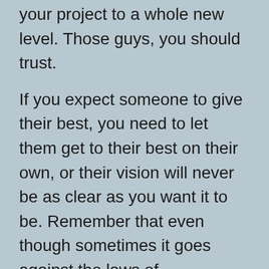your project to a whole new level. Those guys, you should trust.
If you expect someone to give their best, you need to let them get to their best on their own, or their vision will never be as clear as you want it to be. Remember that even though sometimes it goes against the laws of management, some people work better on the worst of schedules, with the worst types of communication, and with the worst kind of conditions. But a genius is a genius, he'll get the job done.
If they know their